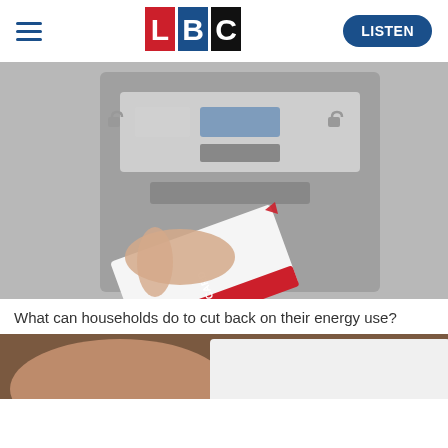[Figure (logo): LBC radio logo with L in red square, B in blue square, C in black square]
[Figure (photo): A hand inserting a utility meter card into a prepayment electricity meter]
What can households do to cut back on their energy use?
[Figure (photo): Partial photo at bottom of page, showing a person holding a white document or paper]